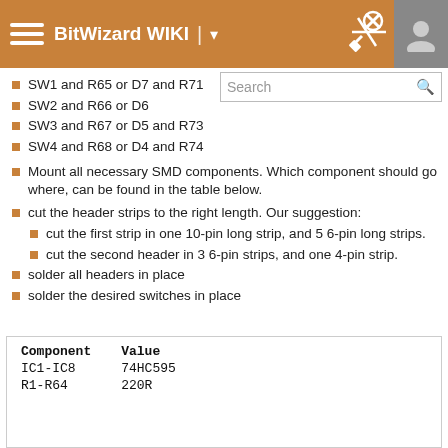BitWizard WIKI
SW1 and R65 or D7 and R71
SW2 and R66 or D6
SW3 and R67 or D5 and R73
SW4 and R68 or D4 and R74
Mount all necessary SMD components. Which component should go where, can be found in the table below.
cut the header strips to the right length. Our suggestion:
cut the first strip in one 10-pin long strip, and 5 6-pin long strips.
cut the second header in 3 6-pin strips, and one 4-pin strip.
solder all headers in place
solder the desired switches in place
| Component | Value |
| --- | --- |
| IC1-IC8 | 74HC595 |
| R1-R64 | 220R |